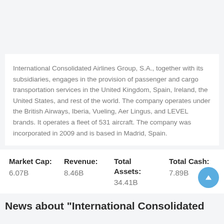International Consolidated Airlines Group, S.A., together with its subsidiaries, engages in the provision of passenger and cargo transportation services in the United Kingdom, Spain, Ireland, the United States, and rest of the world. The company operates under the British Airways, Iberia, Vueling, Aer Lingus, and LEVEL brands. It operates a fleet of 531 aircraft. The company was incorporated in 2009 and is based in Madrid, Spain.
| Market Cap: | Revenue: | Total Assets: | Total Cash: |
| --- | --- | --- | --- |
| 6.07B | 8.46B | 34.41B | 7.89B |
News about "International Consolidated